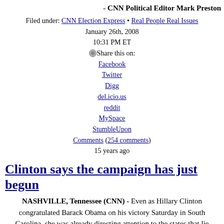- CNN Political Editor Mark Preston
Filed under: CNN Election Express • Real People Real Issues
January 26th, 2008
10:31 PM ET
Share this on:
Facebook
Twitter
Digg
del.icio.us
reddit
MySpace
StumbleUpon
Comments (254 comments)
15 years ago
Clinton says the campaign has just begun
NASHVILLE, Tennessee (CNN) - Even as Hillary Clinton congratulated Barack Obama on his victory Saturday in South Carolina, she was already directing attention to the states that lie ahead.